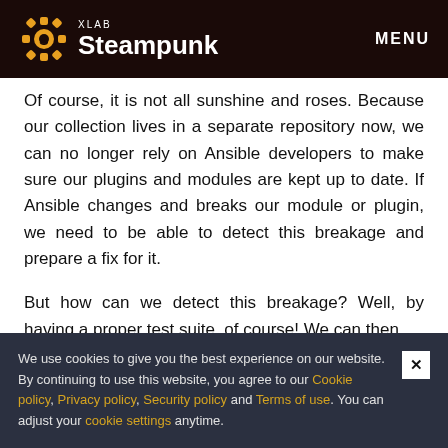XLAB Steampunk | MENU
Of course, it is not all sunshine and roses. Because our collection lives in a separate repository now, we can no longer rely on Ansible developers to make sure our plugins and modules are kept up to date. If Ansible changes and breaks our module or plugin, we need to be able to detect this breakage and prepare a fix for it.
But how can we detect this breakage? Well, by having a proper test suite, of course! We can then
We use cookies to give you the best experience on our website. By continuing to use this website, you agree to our Cookie policy, Privacy policy, Security policy and Terms of use. You can adjust your cookie settings anytime.